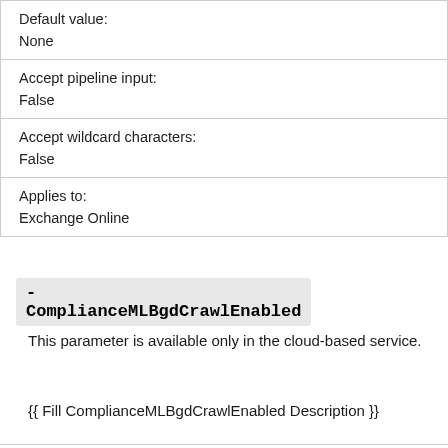| Default value: | None |
| Accept pipeline input: | False |
| Accept wildcard characters: | False |
| Applies to: | Exchange Online |
-ComplianceMLBgdCrawlEnabled
This parameter is available only in the cloud-based service.
{{ Fill ComplianceMLBgdCrawlEnabled Description }}